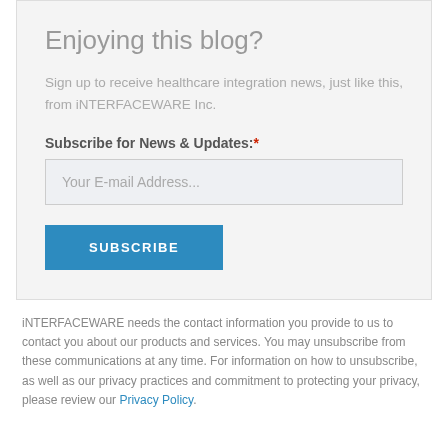Enjoying this blog?
Sign up to receive healthcare integration news, just like this, from iNTERFACEWARE Inc.
Subscribe for News & Updates:*
Your E-mail Address...
SUBSCRIBE
iNTERFACEWARE needs the contact information you provide to us to contact you about our products and services. You may unsubscribe from these communications at any time. For information on how to unsubscribe, as well as our privacy practices and commitment to protecting your privacy, please review our Privacy Policy.